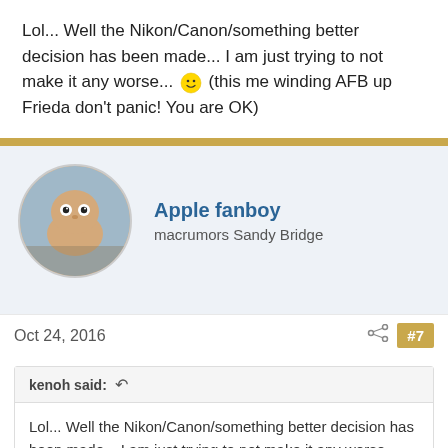Lol... Well the Nikon/Canon/something better decision has been made... I am just trying to not make it any worse... 🙂 (this me winding AFB up Frieda don't panic! You are OK)
[Figure (illustration): User avatar: cartoon potato-like character with eyes, outdoors background]
Apple fanboy
macrumors Sandy Bridge
Oct 24, 2016  #7
kenoh said: ↩
Lol... Well the Nikon/Canon/something better decision has been made... I am just trying to not make it any worse... 🙂 (this me winding AFB up Frieda don't panic! You are OK)
I couldn't be happier with my D750 after 18 months. If I wanted